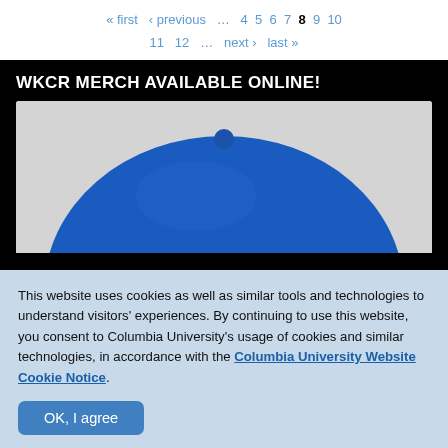« first  ‹ previous  … 4 5 6 7  8  9 10 11 12 … next › last »
[Figure (photo): WKCR Merch Available Online! banner with a blue baseball cap on grey background]
This website uses cookies as well as similar tools and technologies to understand visitors' experiences. By continuing to use this website, you consent to Columbia University's usage of cookies and similar technologies, in accordance with the Columbia University Website Cookie Notice.
OK, I agree